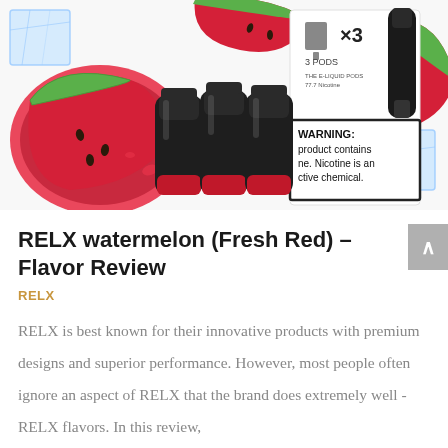[Figure (photo): Product photo of RELX watermelon (Fresh Red) vape pods — three black pod cartridges with red bases displayed in front of a white packaging box, surrounded by watermelon slices and ice cubes on a white background. The packaging shows 'x3', '3 PODS', and a WARNING label partially visible stating 'WARNING: This product contains nicotine. Nicotine is an addictive chemical.']
RELX watermelon (Fresh Red) – Flavor Review
RELX
RELX is best known for their innovative products with premium designs and superior performance. However, most people often ignore an aspect of RELX that the brand does extremely well - RELX flavors. In this review,